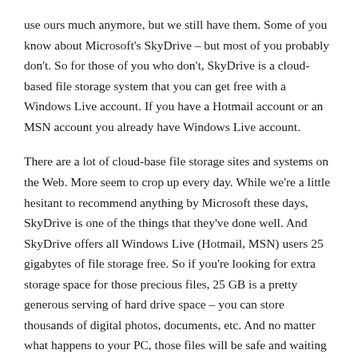use ours much anymore, but we still have them. Some of you know about Microsoft's SkyDrive – but most of you probably don't. So for those of you who don't, SkyDrive is a cloud-based file storage system that you can get free with a Windows Live account. If you have a Hotmail account or an MSN account you already have Windows Live account.
There are a lot of cloud-base file storage sites and systems on the Web. More seem to crop up every day. While we're a little hesitant to recommend anything by Microsoft these days, SkyDrive is one of the things that they've done well. And SkyDrive offers all Windows Live (Hotmail, MSN) users 25 gigabytes of file storage free. So if you're looking for extra storage space for those precious files, 25 GB is a pretty generous serving of hard drive space – you can store thousands of digital photos, documents, etc. And no matter what happens to your PC, those files will be safe and waiting for you. Microsoft doesn't need yet another PR disaster, so you can bet that they have your files well secured and backed up. To access your 25GB of free hard drive space in the cloud, go to